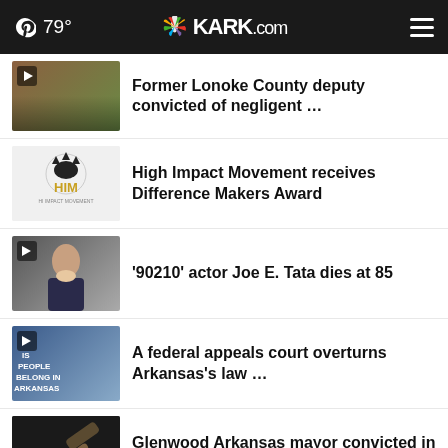79° KARK.com
Former Lonoke County deputy convicted of negligent …
High Impact Movement receives Difference Makers Award
'90210' actor Joe E. Tata dies at 85
A federal appeals court overturns Arkansas's law …
Glenwood Arkansas mayor convicted in theft, abuse …
Marmaduke woman sentenced in federal court for Social …